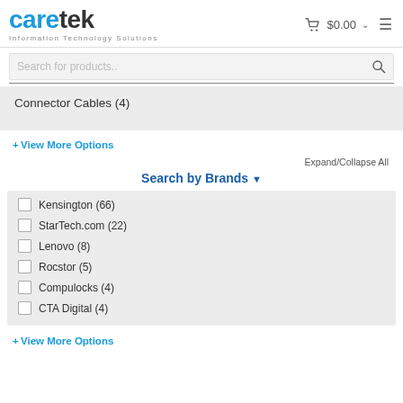caretek Information Technology Solutions
Search for products..
Connector Cables (4)
+ View More Options
Expand/Collapse All
Search by Brands ▾
Kensington (66)
StarTech.com (22)
Lenovo (8)
Rocstor (5)
Compulocks (4)
CTA Digital (4)
+ View More Options